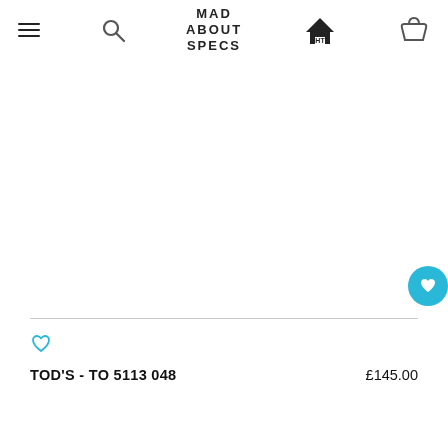MAD ABOUT SPECS — navigation bar with hamburger, search, logo, home, basket icons
[Figure (other): White product image area (eyeglasses product photo placeholder) with a circular blue heart/wishlist button at bottom right]
TOD'S - TO 5113 048
£145.00